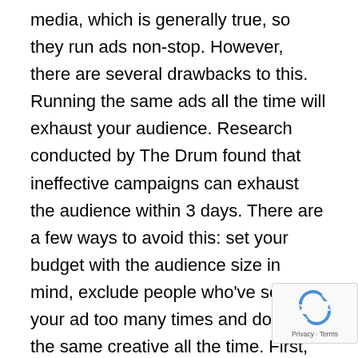media, which is generally true, so they run ads non-stop. However, there are several drawbacks to this. Running the same ads all the time will exhaust your audience. Research conducted by The Drum found that ineffective campaigns can exhaust the audience within 3 days. There are a few ways to avoid this: set your budget with the audience size in mind, exclude people who've seen your ad too many times and don't use the same creative all the time. First, Facebook Ads manager will give you an estimate of how many people are in your target audience, and how many of these people you will reach a day with your budget. Use this as a guide for setting your budget, based on how long you want your
[Figure (logo): Google reCAPTCHA badge with recycling-style arrow icon and Privacy · Terms text]